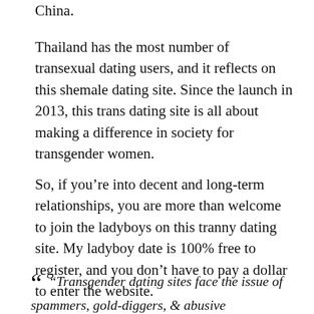China.
Thailand has the most number of transexual dating users, and it reflects on this shemale dating site. Since the launch in 2013, this trans dating site is all about making a difference in society for transgender women.
So, if you’re into decent and long-term relationships, you are more than welcome to join the ladyboys on this tranny dating site. My ladyboy date is 100% free to register, and you don’t have to pay a dollar to enter the website.
“ “Transgender dating sites face the issue of spammers, gold-diggers, & abusive